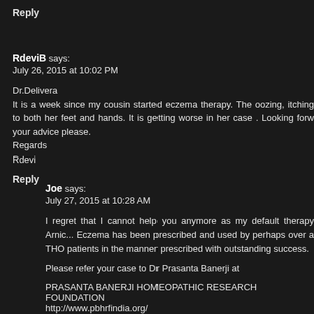Reply
RdeviB says:
July 26, 2015 at 10:02 PM
Dr.Delivera
It is a week since my cousin started eczema therapy. The oozing, itching to both her feet and hands. It is getting worse in her case . Looking forw your advice please.
Regards
Rdevi
Reply
Joe says:
July 27, 2015 at 10:28 AM
I regret that I cannot help you anymore as my default therapy Arnic... Eczema has been prescribed and used by perhaps over a THO patients in the manner prescribed with outstanding success.
Please refer your case to Dr Prasanta Banerji at
PRASANTA BANERJI HOMEOPATHIC RESEARCH FOUNDATION
http://www.pbhrfindia.org/
Please follow the instructions to do so on his website.
0091 33-30582817/ 30582818/ 30582818
info@ pbhrfindia.org